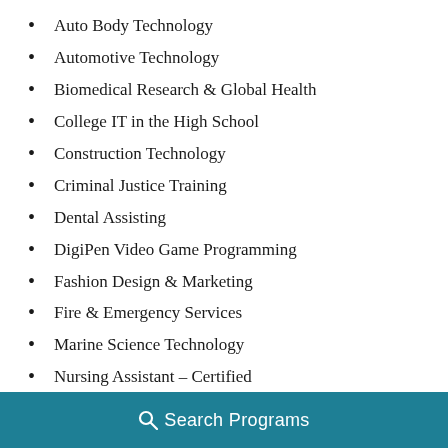Auto Body Technology
Automotive Technology
Biomedical Research & Global Health
College IT in the High School
Construction Technology
Criminal Justice Training
Dental Assisting
DigiPen Video Game Programming
Fashion Design & Marketing
Fire & Emergency Services
Marine Science Technology
Nursing Assistant – Certified
Translation & Interpretation
Search Programs